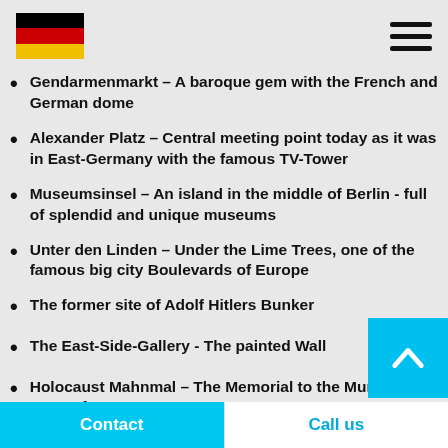[Figure (logo): German flag - three horizontal stripes: black, red, gold]
[Figure (illustration): Hamburger menu icon - three horizontal black lines]
Gendarmenmarkt – A baroque gem with the French and German dome
Alexander Platz – Central meeting point today as it was in East-Germany with the famous TV-Tower
Museumsinsel – An island in the middle of Berlin - full of splendid and unique museums
Unter den Linden – Under the Lime Trees, one of the famous big city Boulevards of Europe
The former site of Adolf Hitlers Bunker
The East-Side-Gallery - The painted Wall
Holocaust Mahnmal – The Memorial to the Murdered Jews of Europe
Contact   Call us